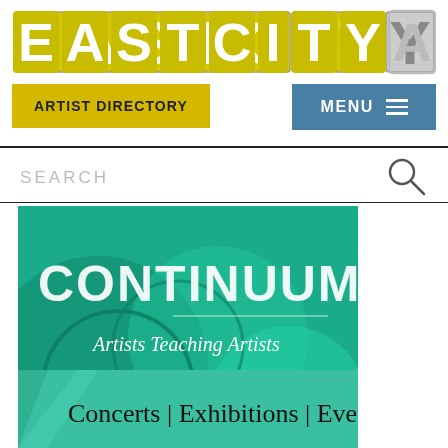[Figure (logo): EastCityArt logo with bold block letters, yellow-green and grey color scheme]
ARTIST DIRECTORY
MENU ≡
SEARCH
[Figure (illustration): CONTINUUM - Artists Teaching Artists. Opening Reception Thursday, September 22 | 7pm Visit mpac.org for more information. Green teal background with overlapping circle designs.]
[Figure (illustration): Concerts | Exhibitions | Events banner on teal/green background with geometric triangle shapes.]